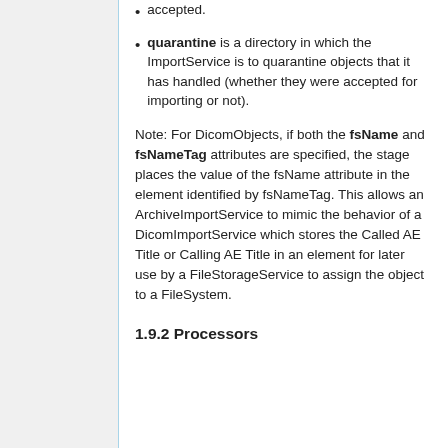accepted.
quarantine is a directory in which the ImportService is to quarantine objects that it has handled (whether they were accepted for importing or not).
Note: For DicomObjects, if both the fsName and fsNameTag attributes are specified, the stage places the value of the fsName attribute in the element identified by fsNameTag. This allows an ArchiveImportService to mimic the behavior of a DicomImportService which stores the Called AE Title or Calling AE Title in an element for later use by a FileStorageService to assign the object to a FileSystem.
1.9.2 Processors